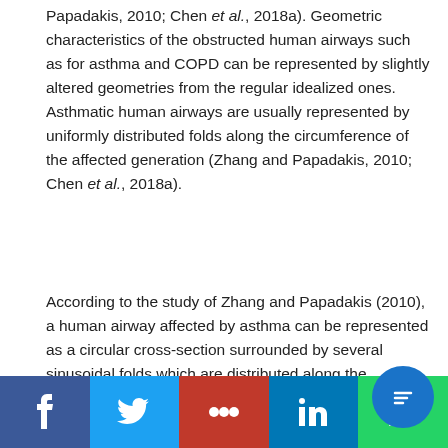Papadakis, 2010; Chen et al., 2018a). Geometric characteristics of the obstructed human airways such as for asthma and COPD can be represented by slightly altered geometries from the regular idealized ones. Asthmatic human airways are usually represented by uniformly distributed folds along the circumference of the affected generation (Zhang and Papadakis, 2010; Chen et al., 2018a).
According to the study of Zhang and Papadakis (2010), a human airway affected by asthma can be represented as a circular cross-section surrounded by several sinusoidal folds which are distributed along the circumference. The equation can be expressed in the polar coordinate system as:
Social sharing bar: Facebook, Twitter, Mail, LinkedIn, WhatsApp